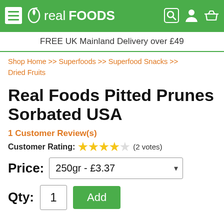real FOODS — navigation header with hamburger menu, logo, search, account, and basket icons
FREE UK Mainland Delivery over £49
Shop Home >> Superfoods >> Superfood Snacks >> Dried Fruits
Real Foods Pitted Prunes Sorbated USA
1 Customer Review(s)
Customer Rating: ★★★★ (2 votes)
Price: 250gr - £3.37
Qty: 1  Add